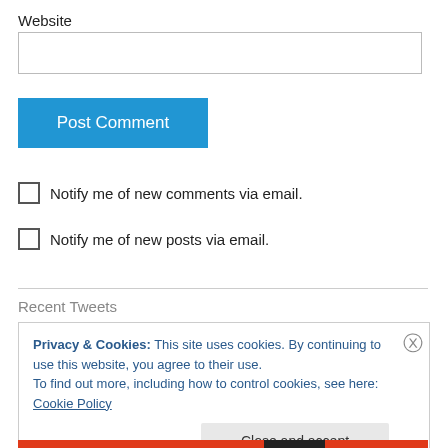Website
Post Comment
Notify me of new comments via email.
Notify me of new posts via email.
Recent Tweets
Privacy & Cookies: This site uses cookies. By continuing to use this website, you agree to their use.
To find out more, including how to control cookies, see here: Cookie Policy
Close and accept